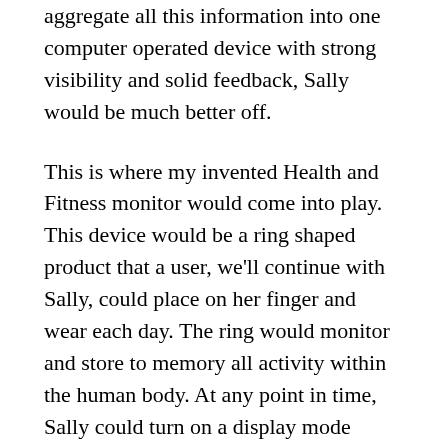aggregate all this information into one computer operated device with strong visibility and solid feedback, Sally would be much better off.
This is where my invented Health and Fitness monitor would come into play. This device would be a ring shaped product that a user, we'll continue with Sally, could place on her finger and wear each day. The ring would monitor and store to memory all activity within the human body. At any point in time, Sally could turn on a display mode which would pull up a 3‑D visual of her body in mid‑air. All action done with the device would be via interaction with this 3‑D visual floating in the air: